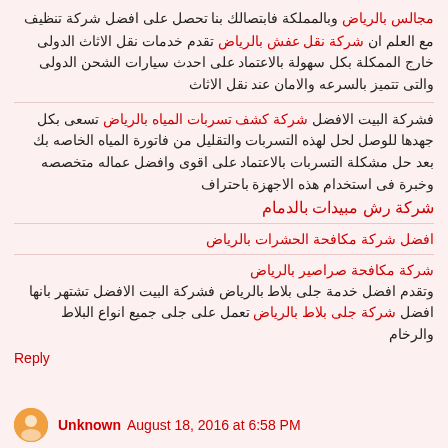مجالس بالرياض وبالمملكة فابتصالك بنا تحصل على افضل شركة تنظيف
مع العلم ان شركة نقل عفش بالرياض تقدم خدمات نقل الاثاث الدولى خارج الممكلة بكل سهولة بالاعتماد على احدث سيارات الشحن الدولى والتى تتميز بالسرعه والامان عند نقل الاثاث
فشركة البيت الافضل شركة كشف تسربات المياه بالرياض تسعى بكل جهدها للوصل لحل لهذه التسربات والتقليل من فاتورة المياه الخاصه بك بعد حل مشكلة التسربات بالاعتماد على اقوى وافضل عماله متخصصه وخبرة فى استخدام هذه الاجهزة باحتراف
شركة رش مبيدات بالدمام
افضل شركة مكافحة الحشرات بالرياض
شركة مكافحة صراصير بالرياض
وتقدم افضل خدمة جلى بلاط بالرياض فشركة البيت الافضل تشتهر بانها افضل شركة جلى بلاط بالرياض تعمل على جلى جميع انواع البلاط والرخام
Reply
Unknown  August 18, 2016 at 6:58 PM